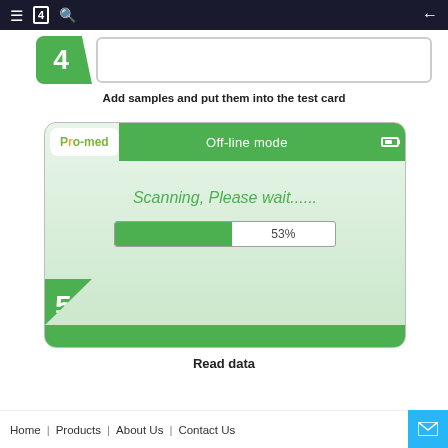[Figure (screenshot): Mobile app navigation bar with hamburger menu, book icon, search icon on left, and back arrow on right, dark background]
[Figure (screenshot): Step 4 card with green badge showing number 4 and empty input line]
Add samples and put them into the test card
[Figure (screenshot): Pro-med app screen in Off-line mode showing scanning progress bar at 53% with text Scanning, Please wait...... and step number 5 badge in bottom-left corner]
Read data
Home | Products | About Us | Contact Us